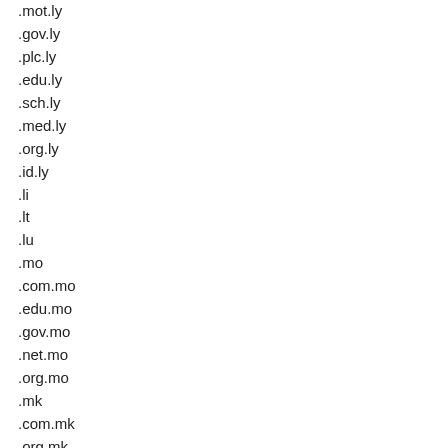.mot.ly
.gov.ly
.plc.ly
.edu.ly
.sch.ly
.med.ly
.org.ly
.id.ly
.li
.lt
.lu
.mo
.com.mo
.edu.mo
.gov.mo
.net.mo
.org.mo
.mk
.com.mk
.org.mk
.net.mk
.edu.mk
.gov.mk